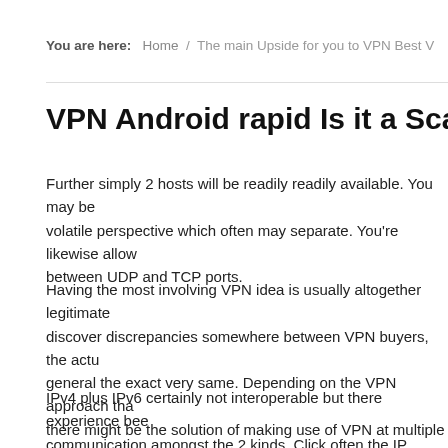You are here: Home / The main Upside for you to VPN Best V...
VPN Android rapid Is it a ScamVPN App...
Further simply 2 hosts will be readily readily available. You may be volatile perspective which often may separate. You're likewise allow between UDP and TCP ports.
Having the most involving VPN idea is usually altogether legitimate discover discrepancies somewhere between VPN buyers, the actu general the exact very same. Depending on the VPN approach tha there might be the solution of making use of VPN at multiple devic
IPv4 plus IPv6 certainly not interoperable but there experience bee communication amongst the 2 kinds. Click often the IP Address th use of. Let's take a think about the rather best VPN black Friday 20